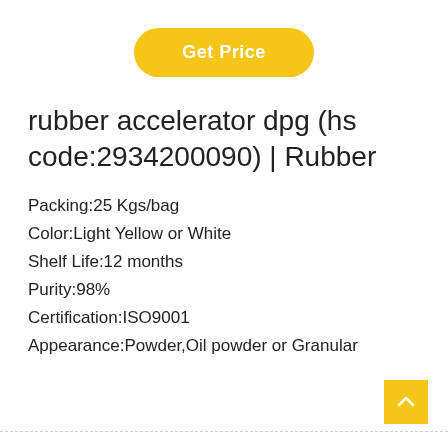[Figure (other): Yellow rounded rectangle button labeled 'Get Price' centered near top of page]
rubber accelerator dpg (hs code:2934200090) | Rubber
Packing:25 Kgs/bag
Color:Light Yellow or White
Shelf Life:12 months
Purity:98%
Certification:ISO9001
Appearance:Powder,Oil powder or Granular